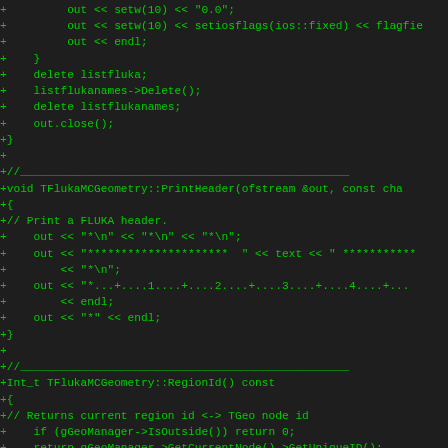[Figure (screenshot): Source code diff view showing C++ code for TFlukaMCGeometry class methods including PrintHeader and RegionId, displayed in green monospace font on dark background]